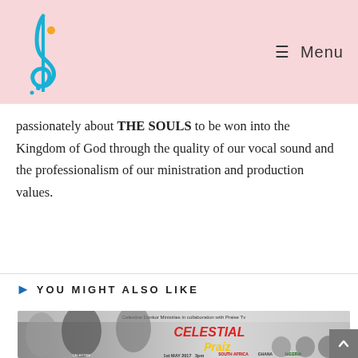Music site logo and Menu navigation
passionately about THE SOULS to be won into the Kingdom of God through the quality of our vocal sound and the professionalism of our ministration and production values.
YOU MIGHT ALSO LIKE
[Figure (photo): Event flyer for Celestial Praiz featuring Celestine Donkor Ministries in collaboration with Praise TV. Shows performers: Celestine Donkor, Steve Crown (Nigeria), OJ, Ceccy Twum, Eugene Zuta. South Africa Ghana Nigeria. 1st May 2017 3pm.]